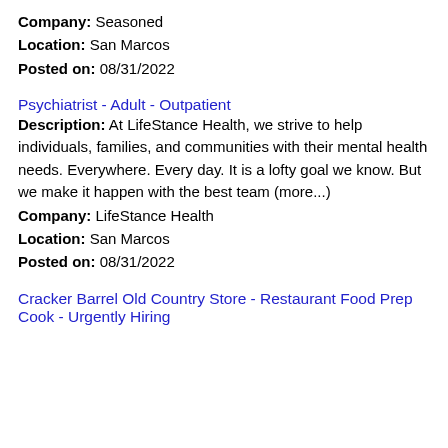Company: Seasoned
Location: San Marcos
Posted on: 08/31/2022
Psychiatrist - Adult - Outpatient
Description: At LifeStance Health, we strive to help individuals, families, and communities with their mental health needs. Everywhere. Every day. It is a lofty goal we know. But we make it happen with the best team (more...)
Company: LifeStance Health
Location: San Marcos
Posted on: 08/31/2022
Cracker Barrel Old Country Store - Restaurant Food Prep Cook - Urgently Hiring